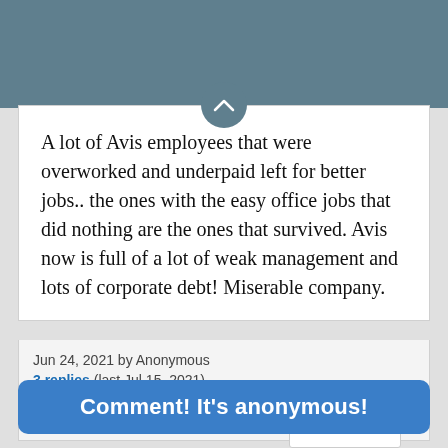[Figure (screenshot): Teal/slate header bar at top of page with a circular chevron-up button at the bottom]
A lot of Avis employees that were overworked and underpaid left for better jobs.. the ones with the easy office jobs that did nothing are the ones that survived. Avis now is full of a lot of weak management and lots of corporate debt! Miserable company.
Jun 24, 2021 by Anonymous
3 replies (last Jul 15, 2021)
1530 views | no reactions
Post ID: @0P+1bv4b3vR
+4
Comment! It's anonymous!